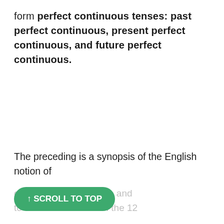form perfect continuous tenses: past perfect continuous, present perfect continuous, and future perfect continuous.
The preceding is a synopsis of the English notion of
cteristics, such as voice and to construct more than the 12